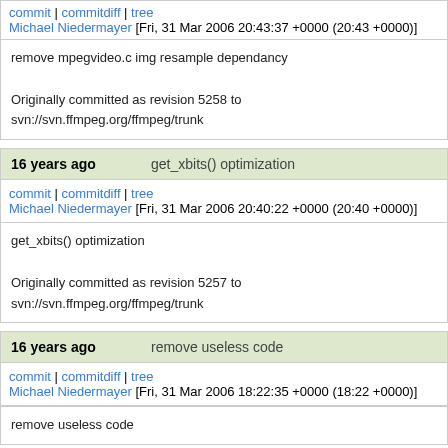commit | commitdiff | tree
Michael Niedermayer [Fri, 31 Mar 2006 20:43:37 +0000 (20:43 +0000)]
remove mpegvideo.c img resample dependancy

Originally committed as revision 5258 to svn://svn.ffmpeg.org/ffmpeg/trunk
16 years ago    get_xbits() optimization
commit | commitdiff | tree
Michael Niedermayer [Fri, 31 Mar 2006 20:40:22 +0000 (20:40 +0000)]
get_xbits() optimization

Originally committed as revision 5257 to svn://svn.ffmpeg.org/ffmpeg/trunk
16 years ago    remove useless code
commit | commitdiff | tree
Michael Niedermayer [Fri, 31 Mar 2006 18:22:35 +0000 (18:22 +0000)]
remove useless code